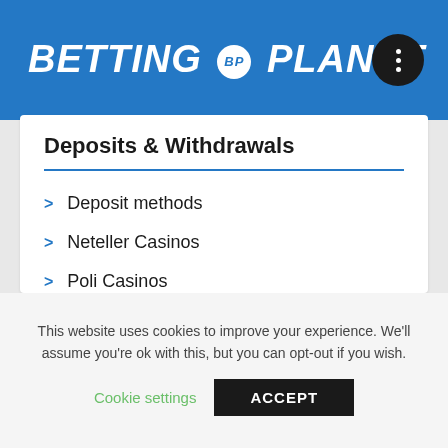BETTING BP PLANET
Deposits & Withdrawals
Deposit methods
Neteller Casinos
Poli Casinos
Paysafecard Casinos
Skrill Casinos
This website uses cookies to improve your experience. We'll assume you're ok with this, but you can opt-out if you wish.
Cookie settings  ACCEPT